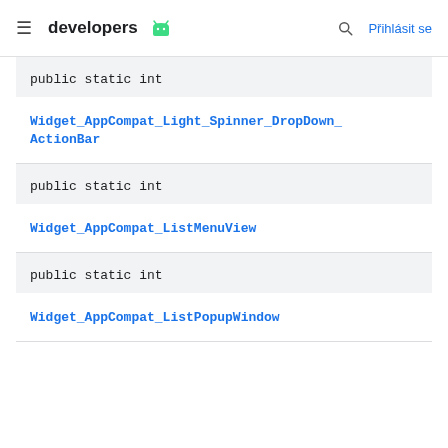developers  Přihlásit se
public static int
Widget_AppCompat_Light_Spinner_DropDown_ActionBar
public static int
Widget_AppCompat_ListMenuView
public static int
Widget_AppCompat_ListPopupWindow